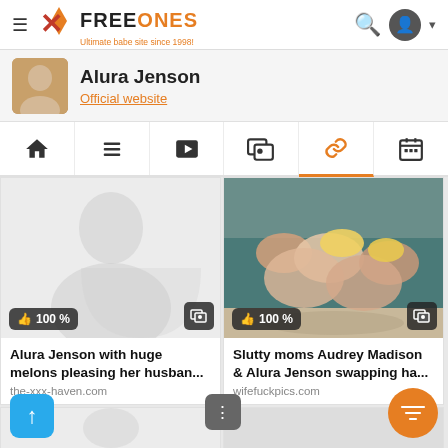FreeOnes – Ultimate babe site since 1998!
Alura Jenson
Official website
[Figure (screenshot): Navigation tab bar with home, list, video, gallery, link (active/orange), and calendar icons]
[Figure (photo): Placeholder silhouette image for Alura Jenson with huge melons pleasing her husban... thumbnail, 100% rating badge]
Alura Jenson with huge melons pleasing her husban...
the-xxx-haven.com
[Figure (photo): Photo thumbnail: Slutty moms Audrey Madison & Alura Jenson swapping ha... with 100% rating badge]
Slutty moms Audrey Madison & Alura Jenson swapping ha...
wifefuckpics.com